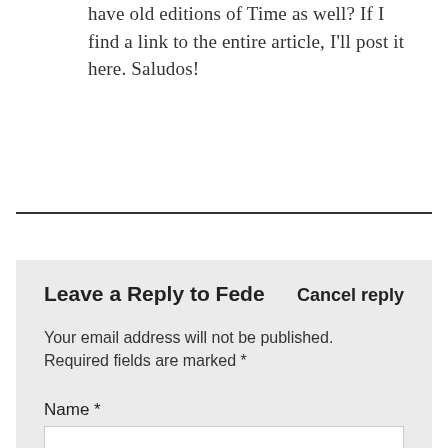have old editions of Time as well? If I find a link to the entire article, I'll post it here. Saludos!
Leave a Reply to Fede   Cancel reply
Your email address will not be published. Required fields are marked *
Name *